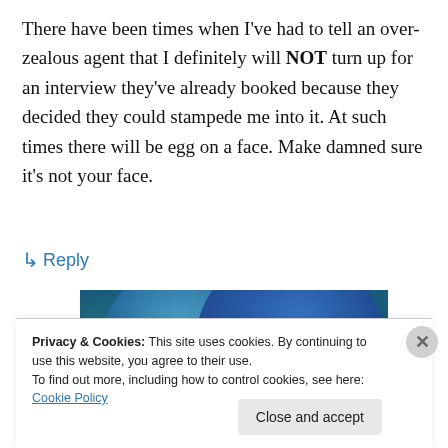There have been times when I've had to tell an over-zealous agent that I definitely will NOT turn up for an interview they've already booked because they decided they could stampede me into it. At such times there will be egg on a face. Make damned sure it's not your face.
↳ Reply
[Figure (illustration): Abstract blue gradient image with overlapping circular shapes in teal and blue tones]
Privacy & Cookies: This site uses cookies. By continuing to use this website, you agree to their use.
To find out more, including how to control cookies, see here: Cookie Policy
Close and accept